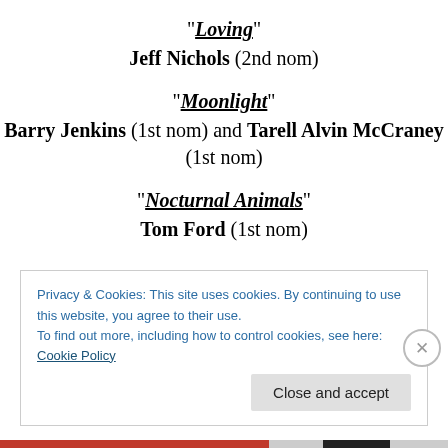"Loving" Jeff Nichols (2nd nom)
"Moonlight" Barry Jenkins (1st nom) and Tarell Alvin McCraney (1st nom)
"Nocturnal Animals" Tom Ford (1st nom)
Privacy & Cookies: This site uses cookies. By continuing to use this website, you agree to their use.
To find out more, including how to control cookies, see here: Cookie Policy
Close and accept